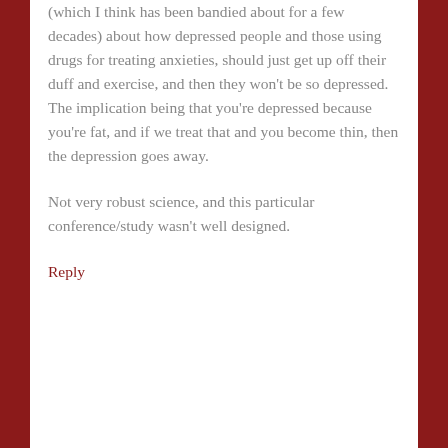(which I think has been bandied about for a few decades) about how depressed people and those using drugs for treating anxieties, should just get up off their duff and exercise, and then they won't be so depressed. The implication being that you're depressed because you're fat, and if we treat that and you become thin, then the depression goes away.
Not very robust science, and this particular conference/study wasn't well designed.
Reply